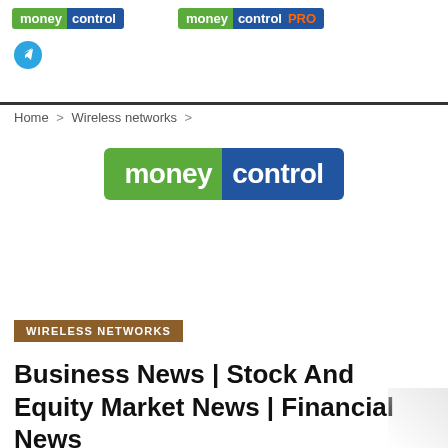moneycontrol | moneycontrolPRO
[Figure (logo): Moneycontrol logo (green and blue) and MoneycontrolPRO logo with telegram icon]
Home > Wireless networks >
[Figure (logo): Large Moneycontrol logo centered on page]
WIRELESS NETWORKS
Business News | Stock And Equity Market News | Financial News